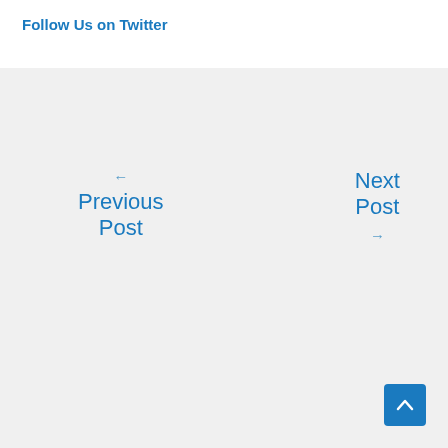Follow Us on Twitter
← Previous Post
Next Post →